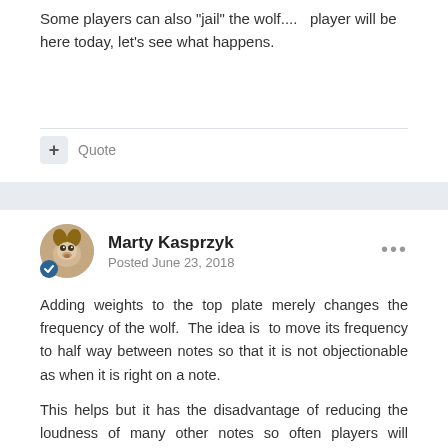Some players can also "jail" the wolf....  player will be here today, let's see what happens.
Quote
Marty Kasprzyk
Posted June 23, 2018
Adding weights to the top plate merely changes the frequency of the wolf.  The idea is  to move its frequency to half way between notes so that it is not objectionable as when it is right on a note.
This helps but it has the disadvantage of reducing the loudness of many other notes so often players will actually prefer the original set up instrument with the wolf note still there.
A much better solution is to add a spring-mass vibration damper which is tuned to the frequency of the wolf note.  The mass is quite light so it vibrates widely to remove energy from the wolf note.  It can then arguably limit the effect they may have on...